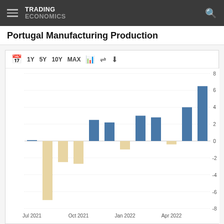TRADING ECONOMICS
Portugal Manufacturing Production
[Figure (bar-chart): Portugal Manufacturing Production]